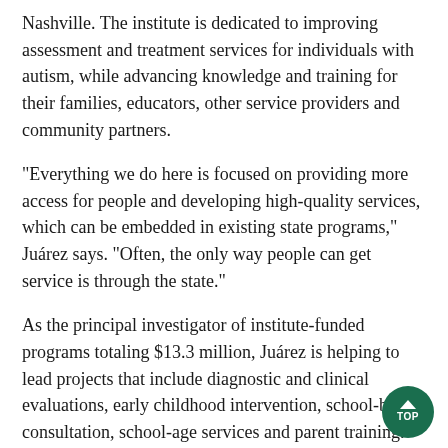Nashville. The institute is dedicated to improving assessment and treatment services for individuals with autism, while advancing knowledge and training for their families, educators, other service providers and community partners.
"Everything we do here is focused on providing more access for people and developing high-quality services, which can be embedded in existing state programs," Juárez says. "Often, the only way people can get service is through the state."
As the principal investigator of institute-funded programs totaling $13.3 million, Juárez is helping to lead projects that include diagnostic and clinical evaluations, early childhood intervention, school-based consultation, school-age services and parent training.
His UNT degree in applied behavior analysis and student experiences have contributed to his success.
"I was given a number of opportunities to develop collaborative